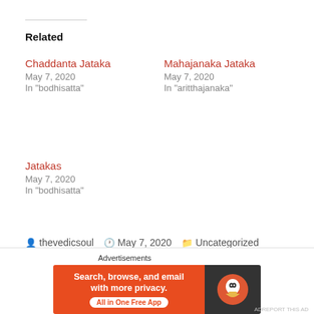Related
Chaddanta Jataka
May 7, 2020
In "bodhisatta"
Mahajanaka Jataka
May 7, 2020
In "aritthajanaka"
Jatakas
May 7, 2020
In "bodhisatta"
thevedicsoul   May 7, 2020   Uncategorized
jataka, Jatakas, phusati, sanjaya, sivi, vessantara, vessantara jataka, vishvantara, vishvantara jataka
[Figure (screenshot): DuckDuckGo advertisement banner: orange left panel with text 'Search, browse, and email with more privacy. All in One Free App' and dark right panel with DuckDuckGo logo]